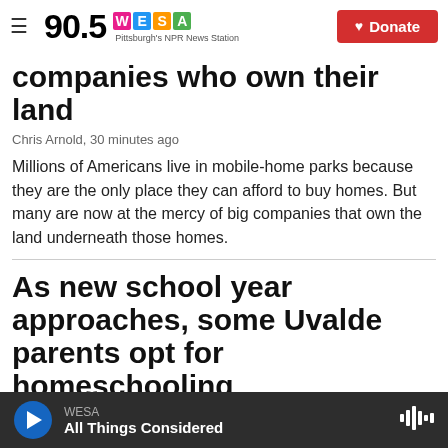90.5 WESA Pittsburgh's NPR News Station | Donate
companies who own their land
Chris Arnold,  30 minutes ago
Millions of Americans live in mobile-home parks because they are the only place they can afford to buy homes. But many are now at the mercy of big companies that own the land underneath those homes.
As new school year approaches, some Uvalde parents opt for homeschooling
WESA | All Things Considered